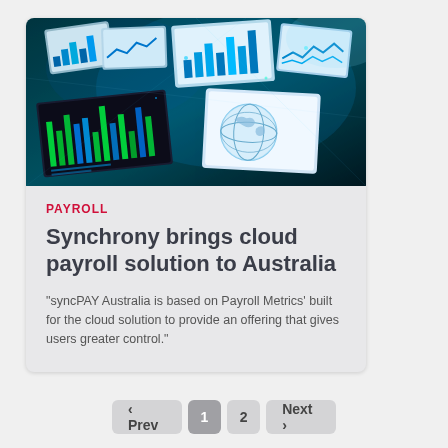[Figure (photo): Technology concept image showing floating digital screens with charts, data, and a globe in a dark teal/blue environment]
PAYROLL
Synchrony brings cloud payroll solution to Australia
"syncPAY Australia is based on Payroll Metrics' built for the cloud solution to provide an offering that gives users greater control."
‹ Prev  1  2  Next ›